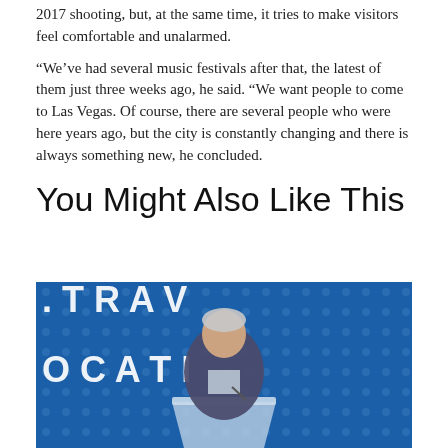2017 shooting, but, at the same time, it tries to make visitors feel comfortable and unalarmed.
“We’ve had several music festivals after that, the latest of them just three weeks ago, he said. “We want people to come to Las Vegas. Of course, there are several people who were here years ago, but the city is constantly changing and there is always something new, he concluded.
You Might Also Like This
[Figure (photo): A man in a suit speaking at a podium in front of a blue banner with partial text reading '...TRAV...OCATI' (Travel Association)]